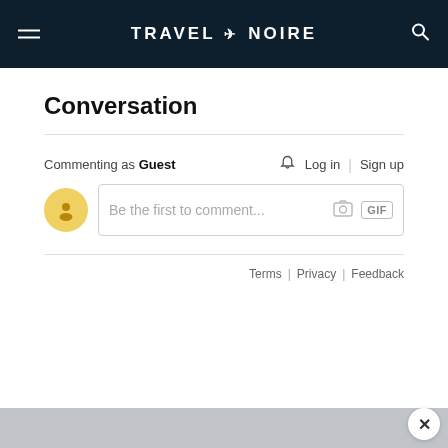TRAVEL + NOIRE
Conversation
Commenting as Guest
Log in | Sign up
Be the first to comment...
Terms | Privacy | Feedback